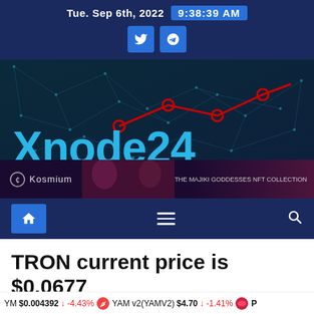Tue. Sep 6th, 2022  9:38:39 AM
[Figure (logo): Xnode24 Cryptomarkets and news banner with network graphic and red line chart overlay]
[Figure (illustration): Kosmium advertisement banner - The Majiki Goddesses NFT Collection]
Navigation bar with home, menu, and search icons
TRON current price is $0.0677
YM $0.004392 ↓ -4.43%   YAM v2(YAMV2) $4.70 ↓ -1.41%